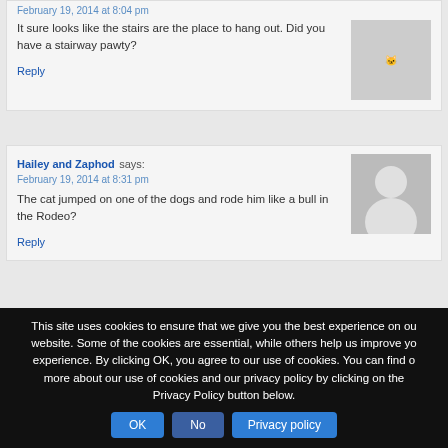February 19, 2014 at 8:04 pm
It sure looks like the stairs are the place to hang out. Did you have a stairway pawty?
Reply
Hailey and Zaphod says: February 19, 2014 at 8:31 pm
The cat jumped on one of the dogs and rode him like a bull in the Rodeo?
Reply
Jackie Bouchard says:
This site uses cookies to ensure that we give you the best experience on our website. Some of the cookies are essential, while others help us improve your experience. By clicking OK, you agree to our use of cookies. You can find out more about our use of cookies and our privacy policy by clicking on the Privacy Policy button below.